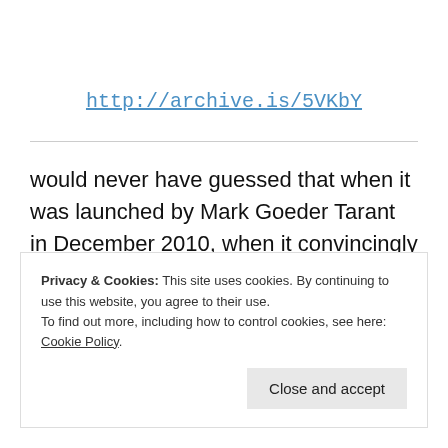http://archive.is/5VKbY
would never have guessed that when it was launched by Mark Goeder Tarant in December 2010, when it convincingly presented itself as a genuine supportive site that attracted many volunteers to add to its
Privacy & Cookies: This site uses cookies. By continuing to use this website, you agree to their use.
To find out more, including how to control cookies, see here: Cookie Policy
Close and accept